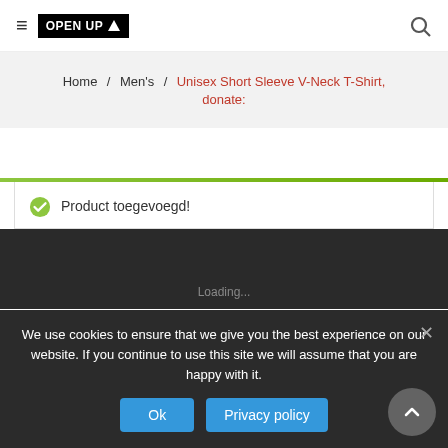≡ OPEN UP ↑  [search icon]
Home / Men's / Unisex Short Sleeve V-Neck T-Shirt, donate:
Product toegevoegd!
We use cookies to ensure that we give you the best experience on our website. If you continue to use this site we will assume that you are happy with it.
Ok
Privacy policy
Loading...